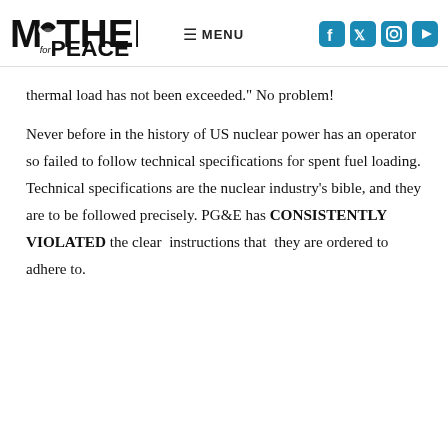Mothers for Peace | MENU
thermal load has not been exceeded." No problem!
Never before in the history of US nuclear power has an operator so failed to follow technical specifications for spent fuel loading. Technical specifications are the nuclear industry's bible, and they are to be followed precisely. PG&E has CONSISTENTLY VIOLATED the clear instructions that they are ordered to adhere to.